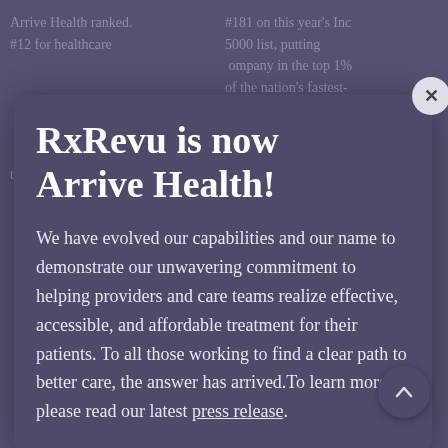Arrive Health ranked. #12 for healthcare this year's Inc 5000 list.
#181 on this year's Inc 5000 list, putting company in the top 1% of the nation's fastest-growing privately held companies.
RxRevu is now Arrive Health!
We have evolved our capabilities and our name to demonstrate our unwavering commitment to helping providers and care teams realize effective, accessible, and affordable treatment for their patients. To all those working to find a clear path to better care, the answer has arrived.To learn more, please read our latest press release.
Explore More →
Explore More →
OUR PARTNERS
Health Systems and Providers